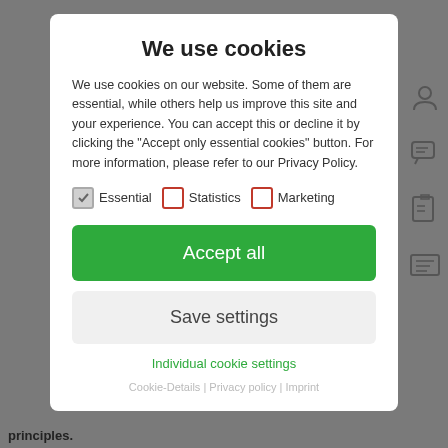We use cookies
We use cookies on our website. Some of them are essential, while others help us improve this site and your experience. You can accept this or decline it by clicking the "Accept only essential cookies" button. For more information, please refer to our Privacy Policy.
Essential  Statistics  Marketing
Accept all
Save settings
Individual cookie settings
Cookie-Details | Privacy policy | Imprint
principles.